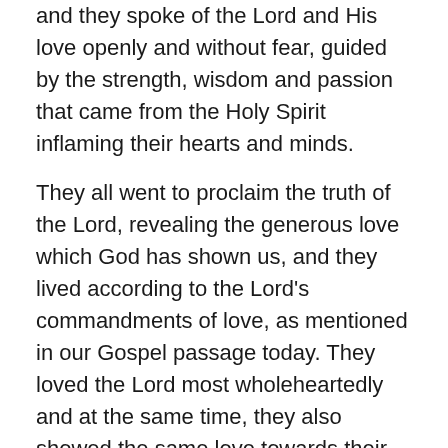and they spoke of the Lord and His love openly and without fear, guided by the strength, wisdom and passion that came from the Holy Spirit inflaming their hearts and minds.
They all went to proclaim the truth of the Lord, revealing the generous love which God has shown us, and they lived according to the Lord's commandments of love, as mentioned in our Gospel passage today. They loved the Lord most wholeheartedly and at the same time, they also showed the same love towards their fellow brothers and sisters, to all man equally and without discrimination, be it Jews, Greeks, Romans, Persians or any other people. They loved them all as fellow children of God, and it was this love, together with the wisdom that God has shown them through the Holy Spirit, which made the Christian